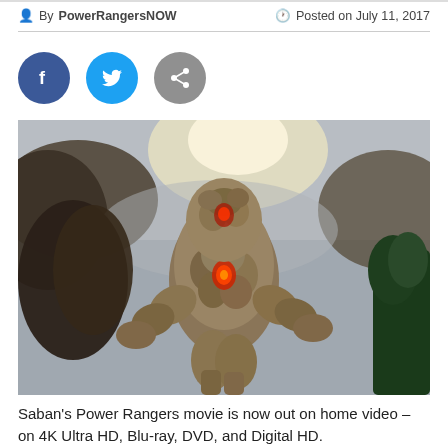By PowerRangersNOW   Posted on July 11, 2017
[Figure (illustration): Three social share buttons: Facebook (blue circle), Twitter (cyan circle), Share (gray circle)]
[Figure (photo): Scene from Saban's Power Rangers movie showing a large rocky CGI monster creature with glowing red energy, standing center frame against a cloudy sky, with a dark creature on the left and a Power Ranger in green on the right.]
Saban's Power Rangers movie is now out on home video – on 4K Ultra HD, Blu-ray, DVD, and Digital HD.